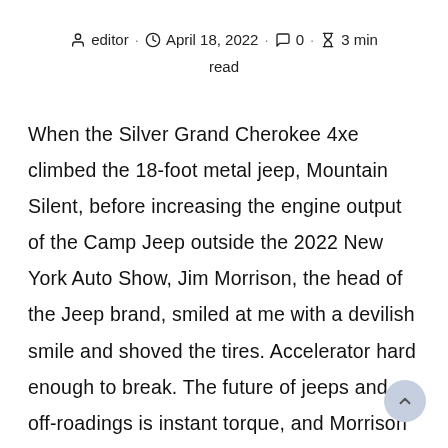editor · April 18, 2022 · 0 · 3 min read
When the Silver Grand Cherokee 4xe climbed the 18-foot metal jeep, Mountain Silent, before increasing the engine output of the Camp Jeep outside the 2022 New York Auto Show, Jim Morrison, the head of the Jeep brand, smiled at me with a devilish smile and shoved the tires. Accelerator hard enough to break. The future of jeeps and off-roadings is instant torque, and Morrison was keen to prove it.